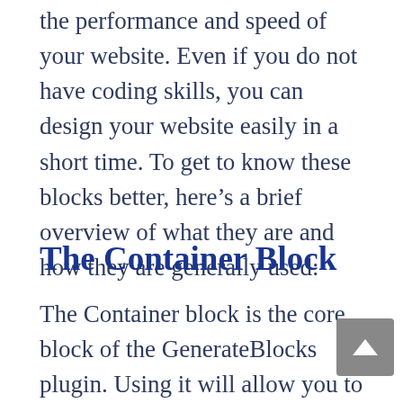the performance and speed of your website. Even if you do not have coding skills, you can design your website easily in a short time. To get to know these blocks better, here’s a brief overview of what they are and how they are generally used:
The Container Block
The Container block is the core block of the GenerateBlocks plugin. Using it will allow you to create simple or advanced containers for your website